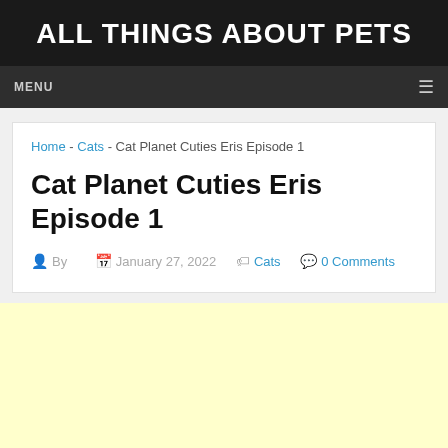ALL THINGS ABOUT PETS
MENU
Home - Cats - Cat Planet Cuties Eris Episode 1
Cat Planet Cuties Eris Episode 1
By  January 27, 2022  Cats  0 Comments
[Figure (other): Yellow/cream colored advertisement placeholder area]